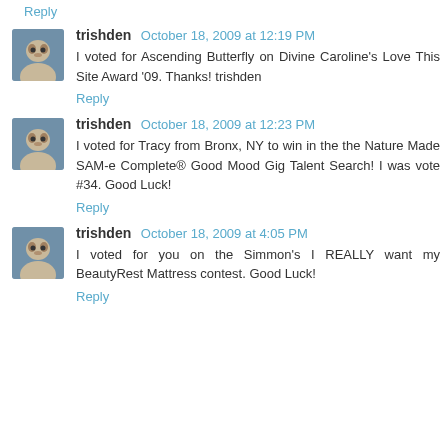Reply
trishden October 18, 2009 at 12:19 PM
I voted for Ascending Butterfly on Divine Caroline's Love This Site Award '09. Thanks! trishden
Reply
trishden October 18, 2009 at 12:23 PM
I voted for Tracy from Bronx, NY to win in the the Nature Made SAM-e Complete® Good Mood Gig Talent Search! I was vote #34. Good Luck!
Reply
trishden October 18, 2009 at 4:05 PM
I voted for you on the Simmon's I REALLY want my BeautyRest Mattress contest. Good Luck!
Reply